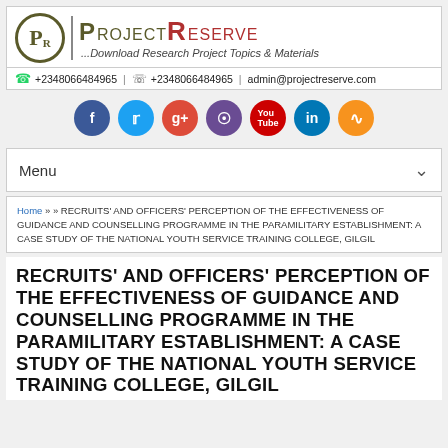[Figure (logo): Project Reserve logo with PR monogram, divider, and stylized text 'PROJECT RESERVE']
...Download Research Project Topics & Materials
+2348066484965 | +2348066484965 | admin@projectreserve.com
[Figure (illustration): Social media icons row: Facebook, Twitter, Google+, Instagram, YouTube, LinkedIn, RSS]
Menu
Home » » RECRUITS' AND OFFICERS' PERCEPTION OF THE EFFECTIVENESS OF GUIDANCE AND COUNSELLING PROGRAMME IN THE PARAMILITARY ESTABLISHMENT: A CASE STUDY OF THE NATIONAL YOUTH SERVICE TRAINING COLLEGE, GILGIL
RECRUITS' AND OFFICERS' PERCEPTION OF THE EFFECTIVENESS OF GUIDANCE AND COUNSELLING PROGRAMME IN THE PARAMILITARY ESTABLISHMENT: A CASE STUDY OF THE NATIONAL YOUTH SERVICE TRAINING COLLEGE, GILGIL